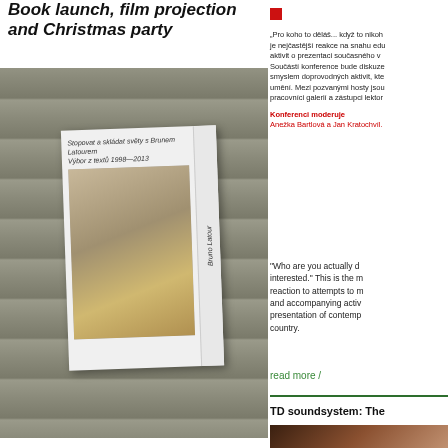Book launch, film projection and Christmas party
[Figure (photo): Book displayed on cobblestone background - 'Stopovat a skládat světy s Brunem Latourem, Výbor z textů 1998–2013' by Bruno Latour, showing people working in a cave or stone structure]
[Figure (illustration): Small red square bullet point]
„Pro koho to děláš... když to nikoh je nejčastější reakce na snahu edu aktivit o prezentaci současného v Součástí konference bude diskuze smyslem doprovodných aktivit, kte umění. Mezi pozvanými hosty jsou pracovníci galerií a zástupci lektor
Konferenci moderuje Anežka Bartlová a Jan Kratochvíl.
"Who are you actually d interested." This is the m reaction to attempts to m and accompanying activ presentation of contemp country.
read more /
TD soundsystem: The
[Figure (photo): Person photographed from behind in a dimly lit room with string lights]